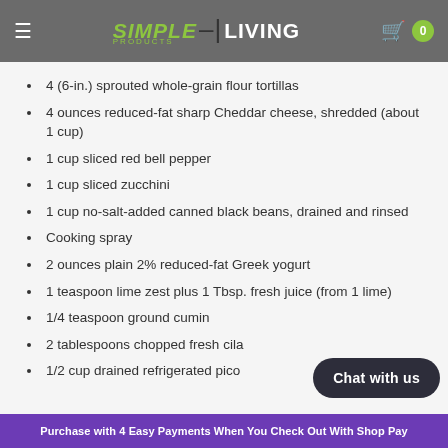Simple Living Products — navigation bar with hamburger menu and cart (0 items)
4 (6-in.) sprouted whole-grain flour tortillas
4 ounces reduced-fat sharp Cheddar cheese, shredded (about 1 cup)
1 cup sliced red bell pepper
1 cup sliced zucchini
1 cup no-salt-added canned black beans, drained and rinsed
Cooking spray
2 ounces plain 2% reduced-fat Greek yogurt
1 teaspoon lime zest plus 1 Tbsp. fresh juice (from 1 lime)
1/4 teaspoon ground cumin
2 tablespoons chopped fresh cila…
1/2 cup drained refrigerated pico…
Purchase with 4 Easy Payments When You Check Out With Shop Pay